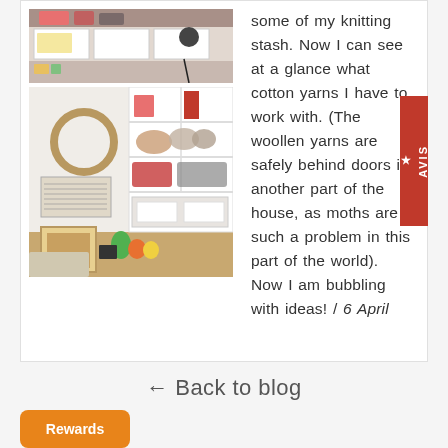[Figure (photo): Two photos of a craft/knitting storage area. Top: shelves with organized boxes and items. Bottom: a room corner with open shelving displaying yarn and craft supplies, a framed picture, and colorful cups on the floor.]
some of my knitting stash. Now I can see at a glance what cotton yarns I have to work with. (The woollen yarns are safely behind doors in another part of the house, as moths are such a problem in this part of the world). Now I am bubbling with ideas! / 6 April
← Back to blog
Rewards